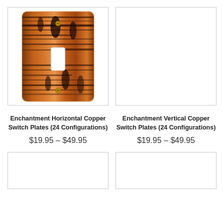[Figure (photo): Enchantment Horizontal Copper Switch Plate with wood-grain copper finish, single toggle opening]
Enchantment Horizontal Copper Switch Plates (24 Configurations)
$19.95 – $49.95
[Figure (photo): Enchantment Vertical Copper Switch Plate - empty white image box]
Enchantment Vertical Copper Switch Plates (24 Configurations)
$19.95 – $49.95
[Figure (photo): Bottom left product image box - empty]
[Figure (photo): Bottom right product image box - empty]